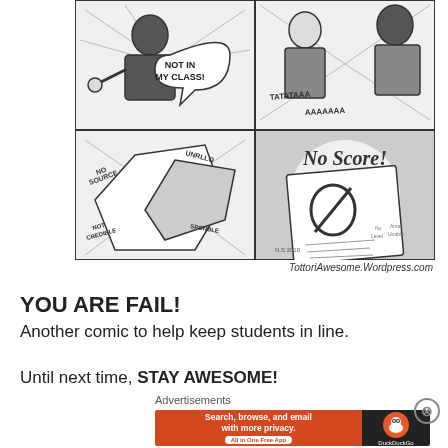[Figure (illustration): A four-panel black and white comic strip. Top-left panel: A teacher figure pointing and saying 'NOT IN MY CLASS!' in a speech bubble. Top-right panel: Another figure with 'TATATAAAAAAAAA' text. Bottom-left panel: Action scene with text 'NO SOURCE', 'NO CREDIBLE', 'NOT CITABLE', 'INCREDIBLE'. Bottom-right panel: A graded paper with 'No Score!' written on it and a zero/slash grade mark.]
TottoriAwesome.Wordpress.com
YOU ARE FAIL!
Another comic to help keep students in line.
Until next time, STAY AWESOME!
Advertisements
[Figure (screenshot): DuckDuckGo advertisement banner. Left orange section: 'Search, browse, and email with more privacy. All in One Free App'. Right dark section: DuckDuckGo logo with duck icon.]